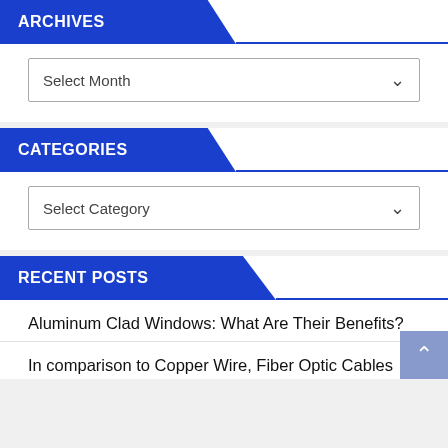ARCHIVES
Select Month
CATEGORIES
Select Category
RECENT POSTS
Aluminum Clad Windows: What Are Their Benefits?
In comparison to Copper Wire, Fiber Optic Cables